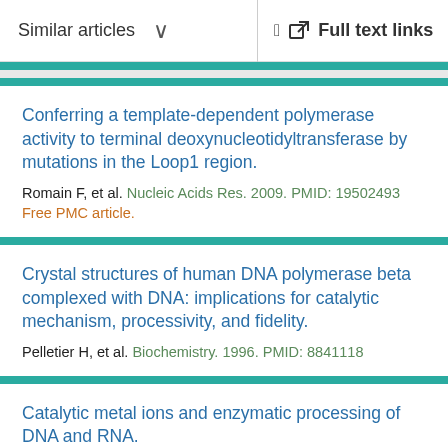Similar articles  ∨    Full text links
Conferring a template-dependent polymerase activity to terminal deoxynucleotidyltransferase by mutations in the Loop1 region.
Romain F, et al. Nucleic Acids Res. 2009. PMID: 19502493
Free PMC article.
Crystal structures of human DNA polymerase beta complexed with DNA: implications for catalytic mechanism, processivity, and fidelity.
Pelletier H, et al. Biochemistry. 1996. PMID: 8841118
Catalytic metal ions and enzymatic processing of DNA and RNA.